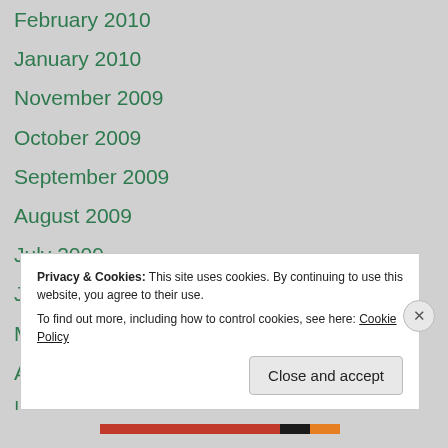February 2010
January 2010
November 2009
October 2009
September 2009
August 2009
July 2009
June 2009
May 2009
April 2009
Privacy & Cookies: This site uses cookies. By continuing to use this website, you agree to their use. To find out more, including how to control cookies, see here: Cookie Policy
Close and accept